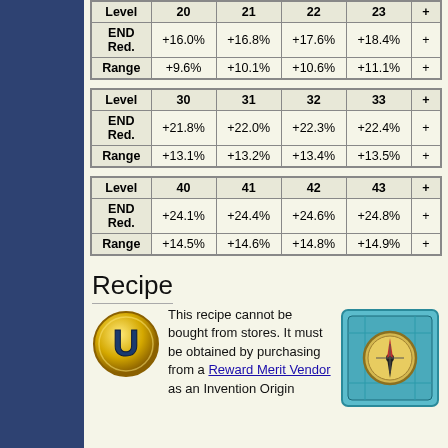| Level | 20 | 21 | 22 | 23 | … |
| --- | --- | --- | --- | --- | --- |
| END Red. | +16.0% | +16.8% | +17.6% | +18.4% | + |
| Range | +9.6% | +10.1% | +10.6% | +11.1% | + |
| Level | 30 | 31 | 32 | 33 | … |
| --- | --- | --- | --- | --- | --- |
| END Red. | +21.8% | +22.0% | +22.3% | +22.4% | + |
| Range | +13.1% | +13.2% | +13.4% | +13.5% | + |
| Level | 40 | 41 | 42 | 43 | … |
| --- | --- | --- | --- | --- | --- |
| END Red. | +24.1% | +24.4% | +24.6% | +24.8% | + |
| Range | +14.5% | +14.6% | +14.8% | +14.9% | + |
Recipe
This recipe cannot be bought from stores. It must be obtained by purchasing from a Reward Merit Vendor as an Invention Origin